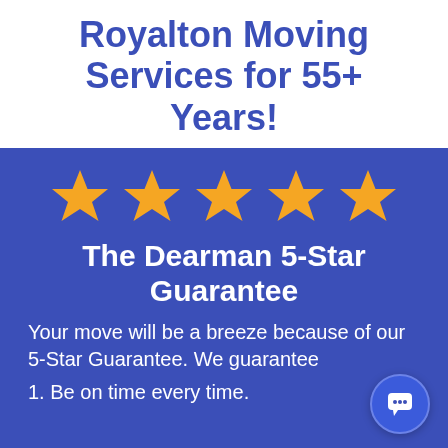Royalton Moving Services for 55+ Years!
[Figure (illustration): Five gold/orange five-pointed stars in a row on a blue background, representing a 5-star rating]
The Dearman 5-Star Guarantee
Your move will be a breeze because of our 5-Star Guarantee. We guarantee
1. Be on time every time.